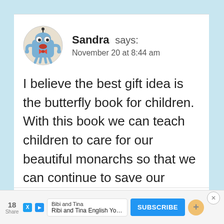[Figure (illustration): Cartoon monster avatar icon — blue creature with googly eyes, red bow tie, and tentacle-like arms]
Sandra says: November 20 at 8:44 am
I believe the best gift idea is the butterfly book for children. With this book we can teach children to care for our beautiful monarchs so that we can continue to save our beauties
18 Share | Bibi and Tina | Ribi and Tina English YouTube | SUBSCRIBE